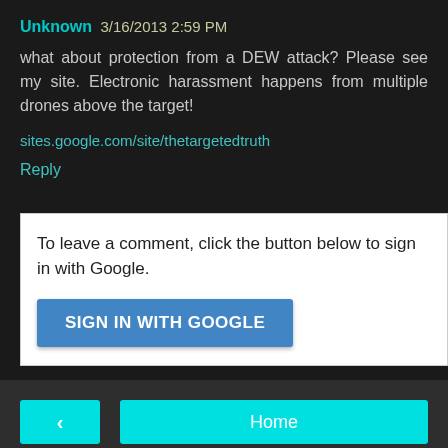Unknown 3/16/2013 2:59 PM
what about protection from a DEW attack? Please see my site. Electronic harassment happens from multiple drones above the target!
sites.google.com/site/thetargetedtruth
Reply
To leave a comment, click the button below to sign in with Google.
SIGN IN WITH GOOGLE
‹
Home
View web version
Powered by Blogger.